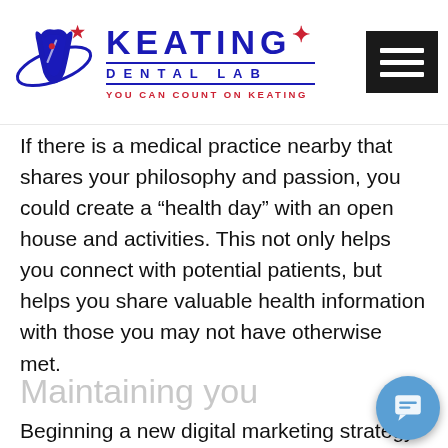[Figure (logo): Keating Dental Lab logo with blue tooth icon, 'KEATING' text, 'DENTAL LAB' subtitle, tagline 'YOU CAN COUNT ON KEATING', and hamburger menu icon on the right]
If there is a medical practice nearby that shares your philosophy and passion, you could create a “health day” with an open house and activities. This not only helps you connect with potential patients, but helps you share valuable health information with those you may not have otherwise met.
Maintaining you
Beginning a new digital marketing strategy can be overwhelming. So many ideas, but so little time! Marketing efforts don’t have to be done in hour or
[Figure (screenshot): Welcome chat popup with blue tooth icon, close X button, and 'Welcome!' text in blue, plus a circular blue chat bubble button in the bottom right]